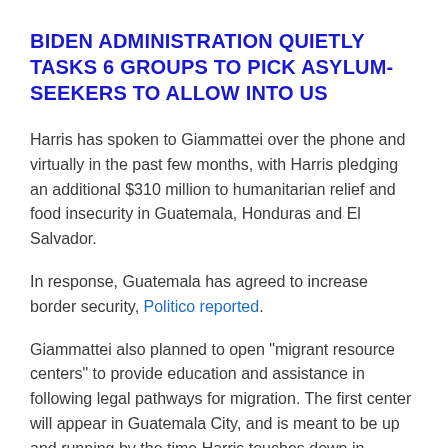BIDEN ADMINISTRATION QUIETLY TASKS 6 GROUPS TO PICK ASYLUM-SEEKERS TO ALLOW INTO US
Harris has spoken to Giammattei over the phone and virtually in the past few months, with Harris pledging an additional $310 million to humanitarian relief and food insecurity in Guatemala, Honduras and El Salvador.
In response, Guatemala has agreed to increase border security, Politico reported.
Giammattei also planned to open "migrant resource centers" to provide education and assistance in following legal pathways for migration. The first center will appear in Guatemala City, and is meant to be up and running by the time Harris touches down in Guatemala.